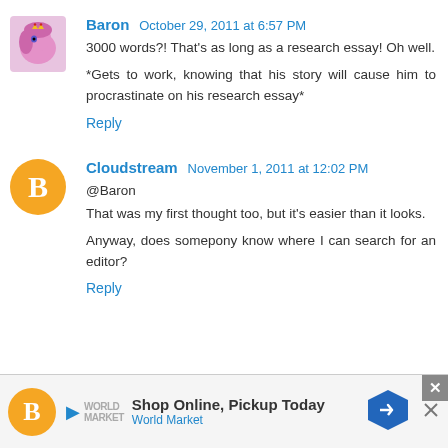Baron  October 29, 2011 at 6:57 PM
3000 words?! That's as long as a research essay! Oh well.

*Gets to work, knowing that his story will cause him to procrastinate on his research essay*
Reply
Cloudstream  November 1, 2011 at 12:02 PM
@Baron
That was my first thought too, but it's easier than it looks.

Anyway, does somepony know where I can search for an editor?
Reply
[Figure (infographic): Advertisement bar: Shop Online, Pickup Today - World Market]